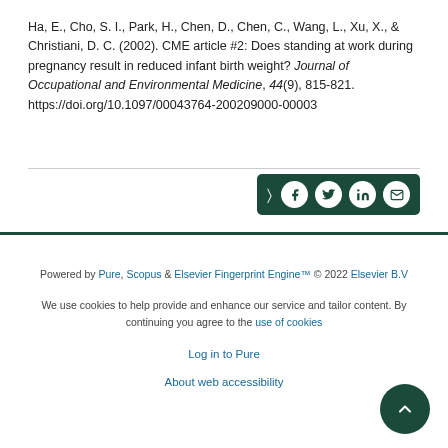Ha, E., Cho, S. I., Park, H., Chen, D., Chen, C., Wang, L., Xu, X., & Christiani, D. C. (2002). CME article #2: Does standing at work during pregnancy result in reduced infant birth weight? Journal of Occupational and Environmental Medicine, 44(9), 815-821. https://doi.org/10.1097/00043764-200209000-00003
[Figure (other): Social sharing button bar with dark green background containing share, Facebook, Twitter, LinkedIn, and email icons]
Powered by Pure, Scopus & Elsevier Fingerprint Engine™ © 2022 Elsevier B.V
We use cookies to help provide and enhance our service and tailor content. By continuing you agree to the use of cookies
Log in to Pure
About web accessibility